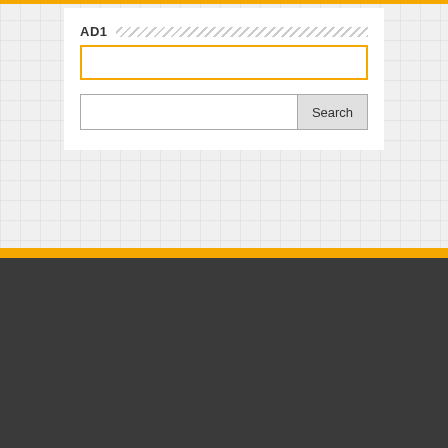AD1
https://www.youtube.com/c/newspatrolling, Wire Manufacturers in Bawana , Best blog of india, Best Influencers of India , Breaking Indian & International political news india, big headlines of today, world live breaking entertainment, politics, lifestyle, fashion, health, technology, telecom, bloggers, fashion, automobiles news, celebrity actress gossips updates, poetery, shayari, gazals, new movie india today,